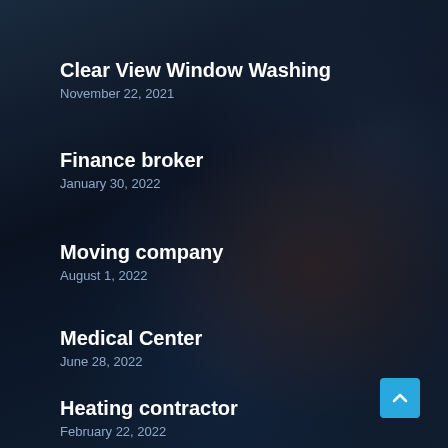Clear View Window Washing
November 22, 2021
Finance broker
January 30, 2022
Moving company
August 1, 2022
Medical Center
June 28, 2022
Heating contractor
February 22, 2022